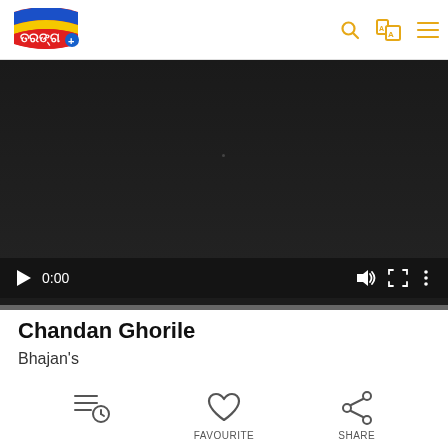[Figure (logo): Tarang+ logo with colorful flag and Odia script in red/white on red background]
[Figure (screenshot): Video player showing dark/black video frame at 0:00 with playback controls including play button, time display 0:00, volume, fullscreen, and more options buttons, and a grey progress bar at bottom]
Chandan Ghorile
Bhajan's
[Figure (infographic): Three action buttons: playlist/history icon (left), heart/favourite icon (center), share icon (right) with labels FAVOURITE and SHARE visible]